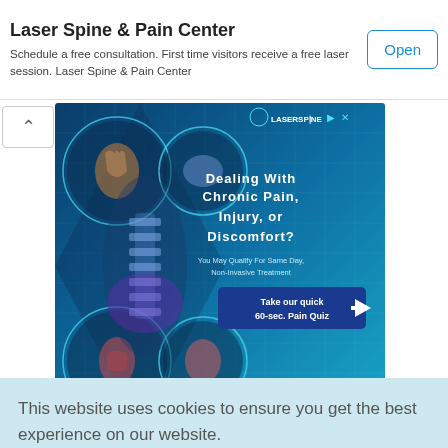Laser Spine & Pain Center
Schedule a free consultation. First time visitors receive a free laser session. Laser Spine & Pain Center
[Figure (infographic): Laser Spine & Pain Center advertisement banner showing X-ray medical images of joints and spine on a blue background with text: Dealing With Chronic Pain, Injury, or Discomfort? You May Qualify For Same Day, Non-Invasive Treatment. Take our quick 60-sec. Pain Quiz]
This website uses cookies to ensure you get the best experience on our website.
Cookie Policy
Got it!
This will depend on whether the surgery is ...